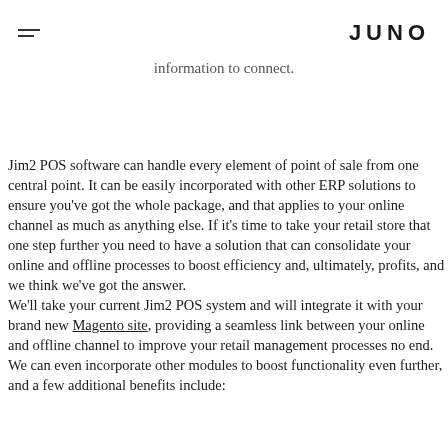JUNO
information to connect.
Jim2 POS software can handle every element of point of sale from one central point. It can be easily incorporated with other ERP solutions to ensure you've got the whole package, and that applies to your online channel as much as anything else. If it's time to take your retail store that one step further you need to have a solution that can consolidate your online and offline processes to boost efficiency and, ultimately, profits, and we think we've got the answer.
We'll take your current Jim2 POS system and will integrate it with your brand new Magento site, providing a seamless link between your online and offline channel to improve your retail management processes no end. We can even incorporate other modules to boost functionality even further, and a few additional benefits include: